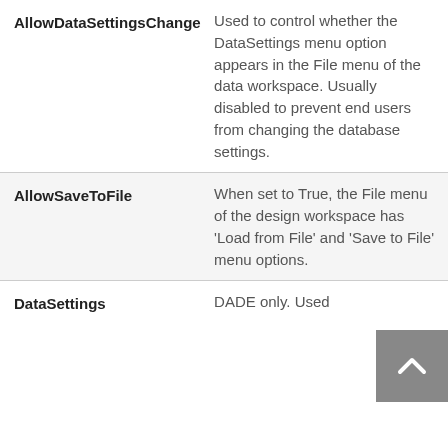| Property | Description |
| --- | --- |
| AllowDataSettingsChange | Used to control whether the DataSettings menu option appears in the File menu of the data workspace. Usually disabled to prevent end users from changing the database settings. |
| AllowSaveToFile | When set to True, the File menu of the design workspace has 'Load from File' and 'Save to File' menu options. |
| DataSettings | DADE only. Used |